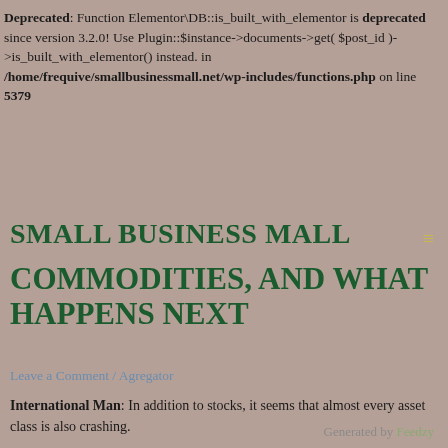Deprecated: Function Elementor\DB::is_built_with_elementor is deprecated since version 3.2.0! Use Plugin::$instance->documents->get( $post_id )->is_built_with_elementor() instead. in /home/frequive/smallbusinessmall.net/wp-includes/functions.php on line 5379
SMALL BUSINESS MALL
COMMODITIES, AND WHAT HAPPENS NEXT
Leave a Comment / Agregator
International Man: In addition to stocks, it seems that almost every asset class is also crashing.
Generated by Feedzy